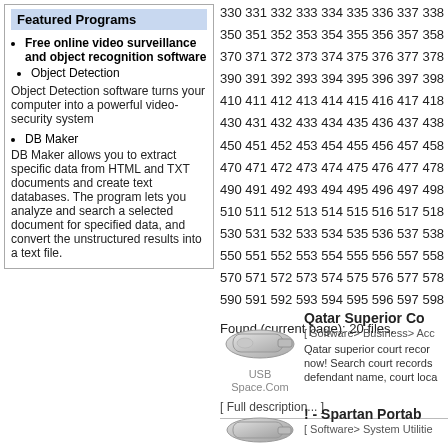Featured Programs
Free online video surveillance and object recognition software
Object Detection
Object Detection software turns your computer into a powerful video-security system
DB Maker
DB Maker allows you to extract specific data from HTML and TXT documents and create text databases. The program lets you analyze and search a selected document for specified data, and convert the unstructured results into a text file.
330 331 332 333 334 335 336 337 338 350 351 352 353 354 355 356 357 358 370 371 372 373 374 375 376 377 378 390 391 392 393 394 395 396 397 398 410 411 412 413 414 415 416 417 418 430 431 432 433 434 435 436 437 438 450 451 452 453 454 455 456 457 458 470 471 472 473 474 475 476 477 478 490 491 492 493 494 495 496 497 498 510 511 512 513 514 515 516 517 518 530 531 532 533 534 535 536 537 538 550 551 552 553 554 555 556 557 558 570 571 572 573 574 575 576 577 578 590 591 592 593 594 595 596 597 598
Found (current page): 20 files.
Qatar Superior Co
[ Software> Business> Acc
Qatar superior court recor now! Search court records defendant name, court loca
[ Full description... ]
! - Spartan Portab
[ Software> System Utilitie